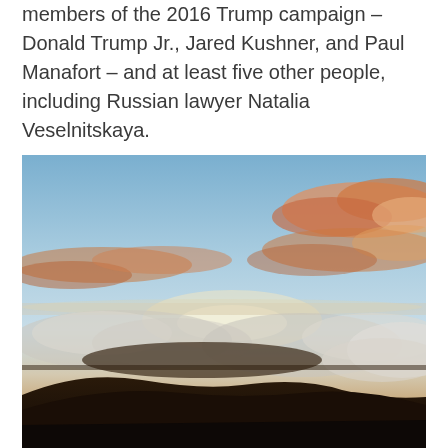members of the 2016 Trump campaign – Donald Trump Jr., Jared Kushner, and Paul Manafort – and at least five other people, including Russian lawyer Natalia Veselnitskaya.
[Figure (photo): A panoramic landscape photo taken from a high elevation showing a dramatic sunset or sunrise sky with orange and pink clouds above a cloud layer, with a dark mountain silhouette in the foreground.]